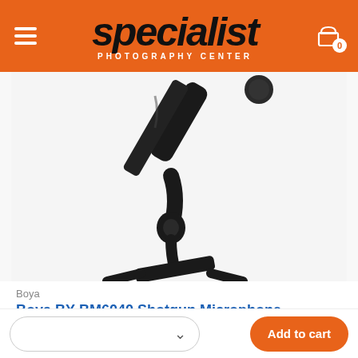specialist PHOTOGRAPHY CENTER
[Figure (photo): Close-up photo of a Boya BY-BM6040 Shotgun Microphone mounted on a stand/holder against a white background]
Boya
Boya BY-BM6040 Shotgun Microphone
Rp 1.550.000